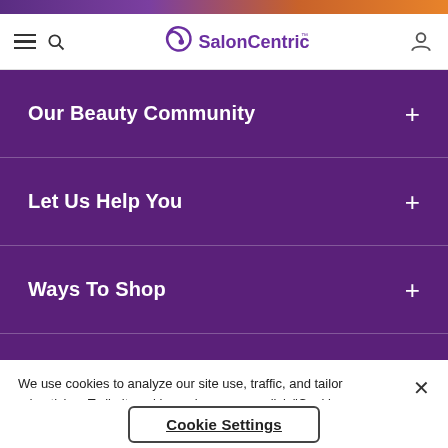[Figure (logo): SalonCentric logo with purple swirl icon and text]
Our Beauty Community
Let Us Help You
Ways To Shop
We use cookies to analyze our site use, traffic, and tailor advertising. To limit cookies or learn more, click "Cookie Settings".
Cookie Settings